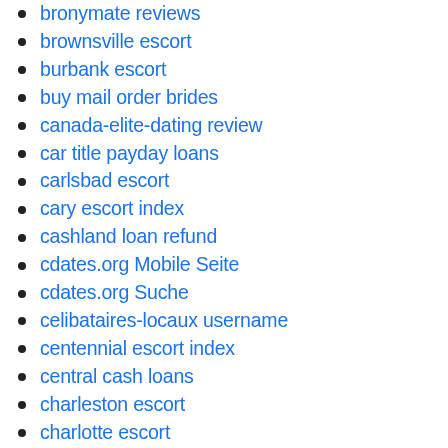bronymate reviews
brownsville escort
burbank escort
buy mail order brides
canada-elite-dating review
car title payday loans
carlsbad escort
cary escort index
cashland loan refund
cdates.org Mobile Seite
cdates.org Suche
celibataires-locaux username
centennial escort index
central cash loans
charleston escort
charlotte escort
charmdate connexion
charmdate italia